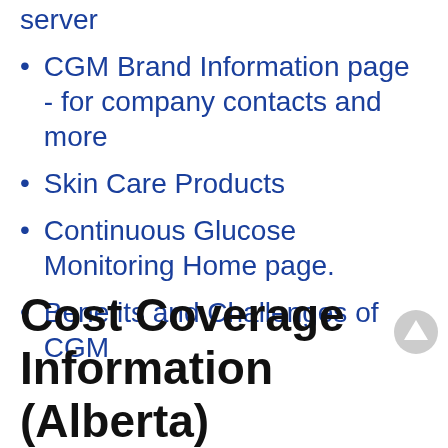server
CGM Brand Information page - for company contacts and more
Skin Care Products
Continuous Glucose Monitoring Home page.
Benefits and Challenges of CGM
Cost Coverage Information (Alberta)